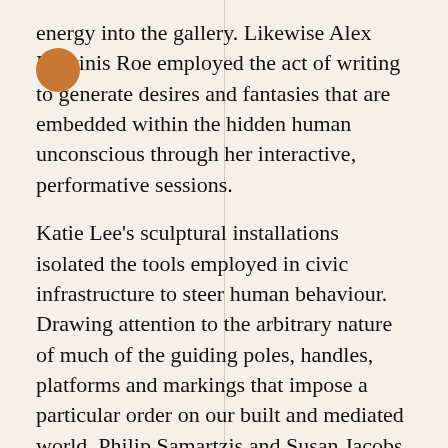energy into the gallery. Likewise Alex Martinis Roe employed the act of writing to generate desires and fantasies that are embedded within the hidden human unconscious through her interactive, performative sessions.
Katie Lee's sculptural installations isolated the tools employed in civic infrastructure to steer human behaviour. Drawing attention to the arbitrary nature of much of the guiding poles, handles, platforms and markings that impose a particular order on our built and mediated world. Philip Samartzis and Susan Jacobs drew attention to architectural thresholds within gallery spaces, reconfiguring them, freeing them from function and revealing their sculptural and metaphorical properties.
By deconstructing our various collisions and intersections with these parameters, Opening Lines realized the possibility for play and transgression
[Figure (logo): GERTRUDE logo in white bold text on black background, positioned top right area overlapping the text]